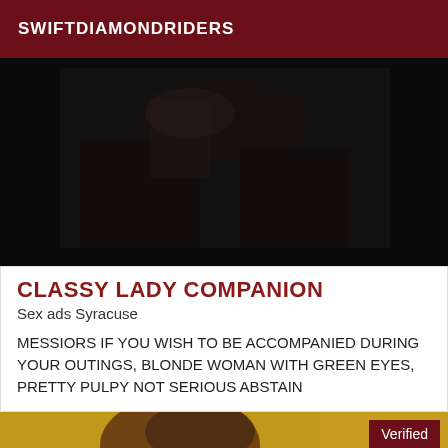SWIFTDIAMONDRIDERS
[Figure (photo): Dark moody photograph, nearly black, showing interior scene with dim shapes]
CLASSY LADY COMPANION
Sex ads Syracuse
MESSIORS IF YOU WISH TO BE ACCOMPANIED DURING YOUR OUTINGS, BLONDE WOMAN WITH GREEN EYES, PRETTY PULPY NOT SERIOUS ABSTAIN
[Figure (photo): Partial photo of a person with dark hair, warm yellow/golden background, with a Verified badge overlay in dark red]